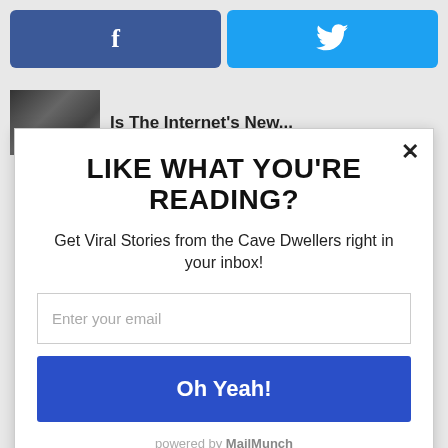[Figure (other): Facebook share button with 'f' icon, dark blue background]
[Figure (other): Twitter share button with bird icon, light blue background]
[Figure (photo): Article thumbnail showing people in suits]
Is The Internet's New...
LIKE WHAT YOU'RE READING?
Get Viral Stories from the Cave Dwellers right in your inbox!
Enter your email
Oh Yeah!
powered by MailMunch